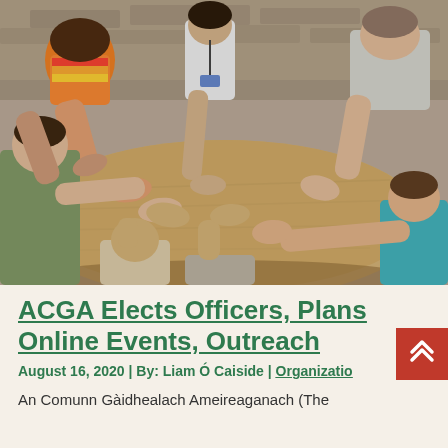[Figure (photo): Multiple people sitting around a large wooden table, all reaching their hands out onto the table surface. The setting appears to be outdoors or in a rustic open-air venue with stone walls visible in the background.]
ACGA Elects Officers, Plans Online Events, Outreach
August 16, 2020 | By: Liam Ó Caiside | Organizations
An Comunn Gàidhealach Ameireaganach (The